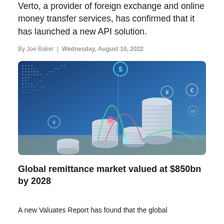Verto, a provider of foreign exchange and online money transfer services, has confirmed that it has launched a new API solution.
By Joe Baker | Wednesday, August 10, 2022
[Figure (photo): Stacks of silver coins with digital currency symbols (dollar, yen, euro, won) and glowing arc lines overlaid, on a blue-lit financial technology background with a world map of data dots.]
Global remittance market valued at $850bn by 2028
A new Valuates Report has found that the global